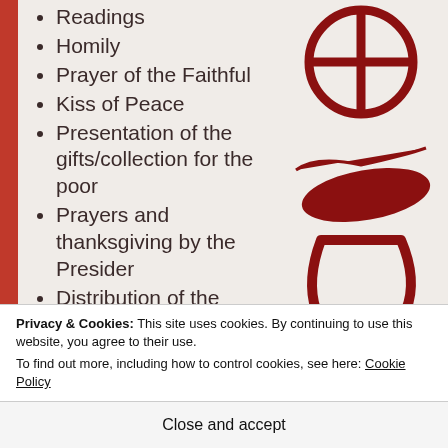Readings
Homily
Prayer of the Faithful
Kiss of Peace
Presentation of the gifts/collection for the poor
Prayers and thanksgiving by the Presider
Distribution of the
[Figure (illustration): Religious illustration in dark red ink: a stylized figure of a person (orant/eucharist figure) with a cross-in-circle head, outstretched arms, and a chalice-like lower body, drawn in brush-stroke style.]
Privacy & Cookies: This site uses cookies. By continuing to use this website, you agree to their use.
To find out more, including how to control cookies, see here: Cookie Policy
Close and accept